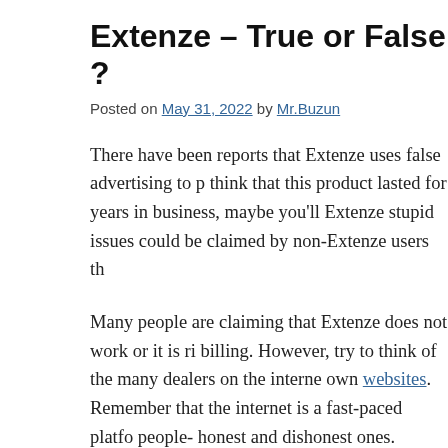Extenze – True or False ?
Posted on May 31, 2022 by Mr.Buzun
There have been reports that Extenze uses false advertising to p... think that this product lasted for years in business, maybe you'll... Extenze stupid issues could be claimed by non-Extenze users th...
Many people are claiming that Extenze does not work or it is ri... billing. However, try to think of the many dealers on the interne... own websites. Remember that the internet is a fast-paced platfo... people- honest and dishonest ones.
Extenze fake reviewing could be a harsh issue that can deter po... product. How can anyone say that this product uses false advert... in business competing with well-known products of the same na...
If you'll look at the many testimonials of clients, those males w... results of Extenze, you'll realize that when a product is doing w... There are biases to claims of Extenze. It's either those folks ha...